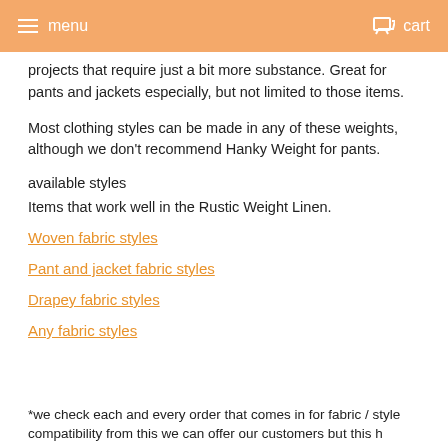menu   cart
projects that require just a bit more substance. Great for pants and jackets especially, but not limited to those items.
Most clothing styles can be made in any of these weights, although we don't recommend Hanky Weight for pants.
available styles
Items that work well in the Rustic Weight Linen.
Woven fabric styles
Pant and jacket fabric styles
Drapey fabric styles
Any fabric styles
*we check each and every order that comes in for fabric / style compatibility from this we can offer our customers but this h